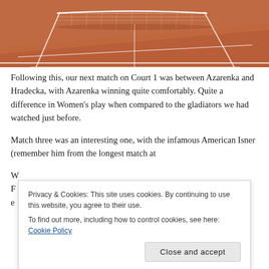[Figure (photo): Clay tennis court showing the net and court lines from a low angle perspective]
Following this, our next match on Court 1 was between Azarenka and Hradecka, with Azarenka winning quite comfortably. Quite a difference in Women’s play when compared to the gladiators we had watched just before.
Match three was an interesting one, with the infamous American Isner (remember him from the longest match at W... F... e...
Privacy & Cookies: This site uses cookies. By continuing to use this website, you agree to their use.
To find out more, including how to control cookies, see here: Cookie Policy